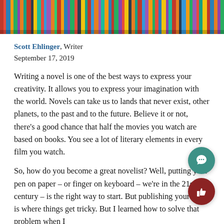[Figure (photo): A row of colorful books on a shelf viewed from the side, showing spines of various colors — red, green, blue, yellow, etc.]
Scott Ehlinger, Writer
September 17, 2019
Writing a novel is one of the best ways to express your creativity. It allows you to express your imagination with the world. Novels can take us to lands that never exist, other planets, to the past and to the future. Believe it or not, there's a good chance that half the movies you watch are based on books. You see a lot of literary elements in every film you watch.
So, how do you become a great novelist? Well, putting your pen on paper – or finger on keyboard – we're in the 21st century – is the right way to start. But publishing your work is where things get tricky. But I learned how to solve that problem when I participated in a Creative Writing class with the...